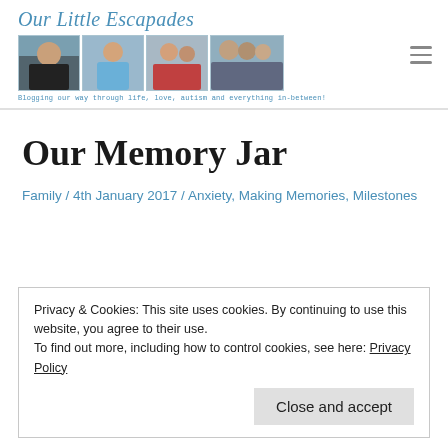Our Little Escapades — Blogging our way through life, love, autism and everything in-between!
[Figure (photo): Blog header with four family photos showing children and parents]
Our Memory Jar
Family / 4th January 2017 / Anxiety, Making Memories, Milestones
Privacy & Cookies: This site uses cookies. By continuing to use this website, you agree to their use.
To find out more, including how to control cookies, see here: Privacy Policy
Close and accept